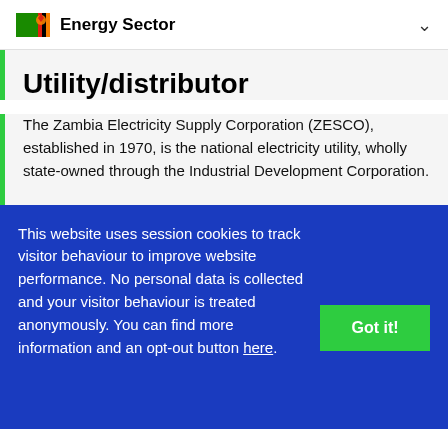Energy Sector
Utility/distributor
The Zambia Electricity Supply Corporation (ZESCO), established in 1970, is the national electricity utility, wholly state-owned through the Industrial Development Corporation.
This website uses session cookies to track visitor behaviour to improve website performance. No personal data is collected and your visitor behaviour is treated anonymously. You can find more information and an opt-out button here.